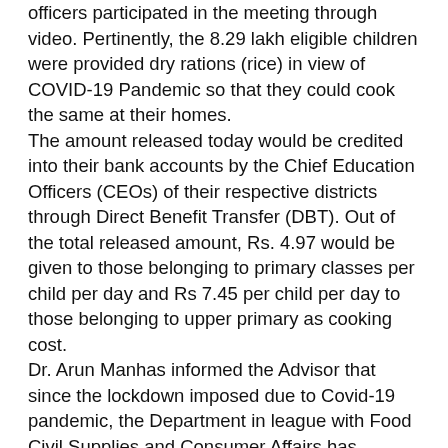officers participated in the meeting through video. Pertinently, the 8.29 lakh eligible children were provided dry rations (rice) in view of COVID-19 Pandemic so that they could cook the same at their homes. The amount released today would be credited into their bank accounts by the Chief Education Officers (CEOs) of their respective districts through Direct Benefit Transfer (DBT). Out of the total released amount, Rs. 4.97 would be given to those belonging to primary classes per child per day and Rs 7.45 per child per day to those belonging to upper primary as cooking cost. Dr. Arun Manhas informed the Advisor that since the lockdown imposed due to Covid-19 pandemic, the Department in league with Food Civil Supplies and Consumer Affairs has distributed dry ration (Rice) under the scheme among more than eight lakh students in Jammu and Kashmir. He further informed that 4,42,768 students belonged to Jammu Division whereas 3,59,718